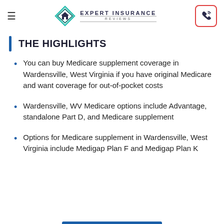Expert Insurance Reviews
THE HIGHLIGHTS
You can buy Medicare supplement coverage in Wardensville, West Virginia if you have original Medicare and want coverage for out-of-pocket costs
Wardensville, WV Medicare options include Advantage, standalone Part D, and Medicare supplement
Options for Medicare supplement in Wardensville, West Virginia include Medigap Plan F and Medigap Plan K